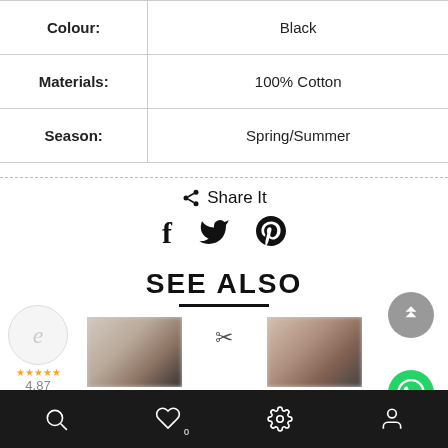| Colour: | Black |
| Materials: | 100% Cotton |
| Season: | Spring/Summer |
Share It
[Figure (infographic): Social share icons: Facebook (f), Twitter (bird), Pinterest (P)]
[Figure (logo): Ekomi circular badge with 'e' logo and star rating 4,87]
SEE ALSO
[Figure (photo): Two blurred product thumbnail images with a percent/scissors icon in the middle]
[Figure (infographic): Scroll-to-top button (gray circle with up chevrons) and WhatsApp contact button (green circle with phone icon)]
Bottom navigation bar with search, heart/wishlist (0), settings, and profile icons